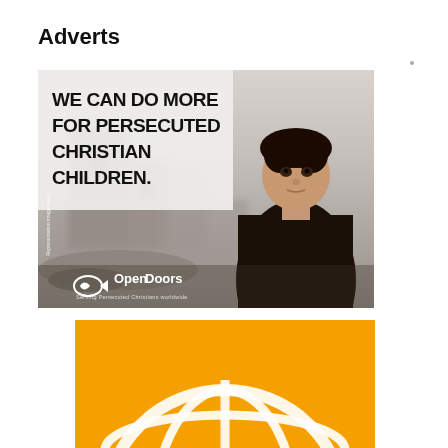Adverts
[Figure (illustration): Open Doors charity advertisement showing a young boy standing among ruins, with bold text reading 'WE CAN DO MORE FOR PERSECUTED CHRISTIAN CHILDREN.' and the Open Doors logo at the bottom.]
[Figure (illustration): Partial view of a second advertisement with orange background showing a white globe/arc logo shape, partially cut off at the bottom of the page.]